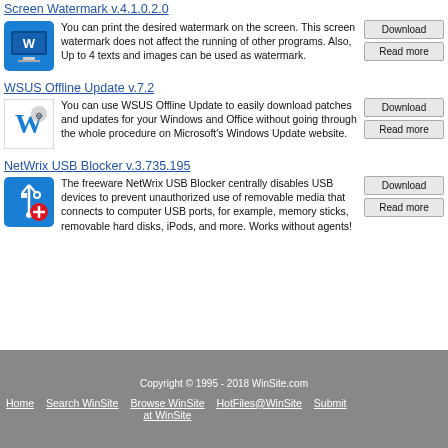Screen Watermark  v.4.1.0.2.0
You can print the desired watermark on the screen. This screen watermark does not affect the running of other programs. Also, Up to 4 texts and images can be used as watermark.
WSUS Offline Update  v.7.2
You can use WSUS Offline Update to easily download patches and updates for your Windows and Office without going through the whole procedure on Microsoft's Windows Update website.
NetWrix USB Blocker  v.3.735.195
The freeware NetWrix USB Blocker centrally disables USB devices to prevent unauthorized use of removable media that connects to computer USB ports, for example, memory sticks, removable hard disks, iPods, and more. Works without agents!
Copyright © 1995 - 2018 WinSite.com
Home  Search WinSite  Browse WinSite at WinSite  HotFiles@WinSite  Submit